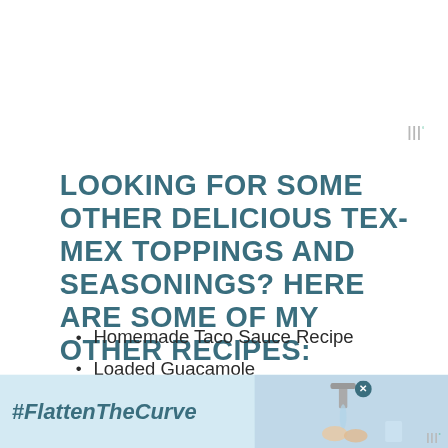LOOKING FOR SOME OTHER DELICIOUS TEX-MEX TOPPINGS AND SEASONINGS? HERE ARE SOME OF MY OTHER RECIPES:
Homemade Taco Sauce Recipe
Loaded Guacamole
Red Enchilada Sauce Recipe
[Figure (other): Advertisement banner with #FlattenTheCurve text and handwashing photo]
w°